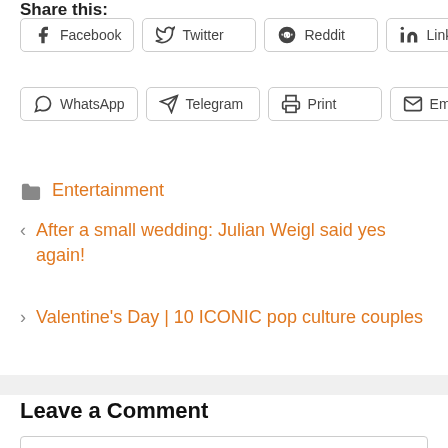Share this:
Facebook
Twitter
Reddit
LinkedIn
WhatsApp
Telegram
Print
Email
Entertainment
After a small wedding: Julian Weigl said yes again!
Valentine's Day | 10 ICONIC pop culture couples
Leave a Comment